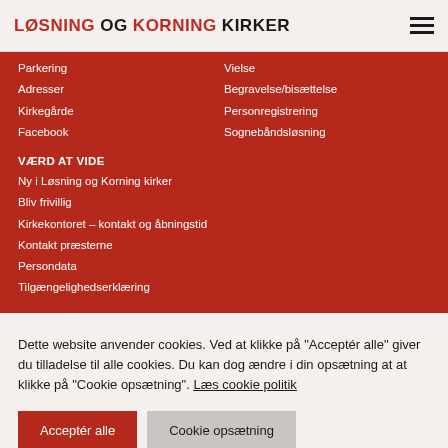LØSNING OG KORNING KIRKER
Parkering
Vielse
Adresser
Begravelse/bisættelse
Kirkegårde
Personregistrering
Facebook
Sognebåndsløsning
VÆRD AT VIDE
Ny i Løsning og Korning kirker
Bliv frivillig
Kirkekontoret – kontakt og åbningstid
Kontakt præsterne
Persondata
Tilgængelighedserklæring
Dette website anvender cookies. Ved at klikke på "Acceptér alle" giver du tilladelse til alle cookies. Du kan dog ændre i din opsætning at at klikke på "Cookie opsætning". Læs cookie politik
Acceptér alle | Cookie opsætning